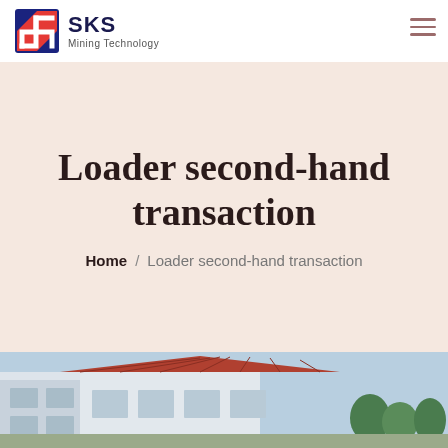[Figure (logo): SKS Mining Technology logo with red/blue angular S icon]
Loader second-hand transaction
Home / Loader second-hand transaction
[Figure (photo): Partial view of a building exterior with red-tiled roof and blue sky]